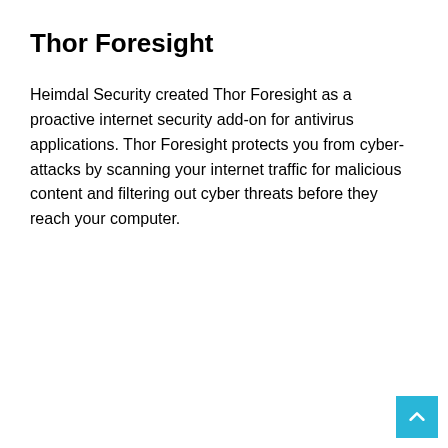Thor Foresight
Heimdal Security created Thor Foresight as a proactive internet security add-on for antivirus applications. Thor Foresight protects you from cyber-attacks by scanning your internet traffic for malicious content and filtering out cyber threats before they reach your computer.